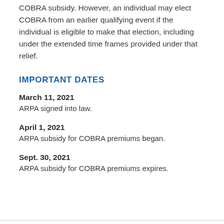COBRA subsidy. However, an individual may elect COBRA from an earlier qualifying event if the individual is eligible to make that election, including under the extended time frames provided under that relief.
IMPORTANT DATES
March 11, 2021
ARPA signed into law.
April 1, 2021
ARPA subsidy for COBRA premiums began.
Sept. 30, 2021
ARPA subsidy for COBRA premiums expires.